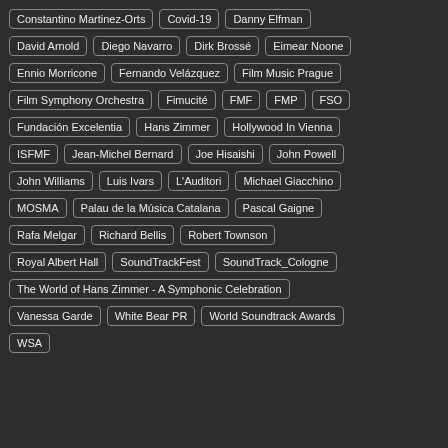Constantino Martinez-Orts
Covid-19
Danny Elfman
David Arnold
Diego Navarro
Dirk Brossé
Eimear Noone
Ennio Morricone
Fernando Velázquez
Film Music Prague
Film Symphony Orchestra
Fimucité
FMF
FMP
FSO
Fundación Excelentia
Hans Zimmer
Hollywood In Vienna
ISFMF
Jean-Michel Bernard
Joe Hisaishi
John Powell
John Williams
Luis Ivars
L'Auditori
Michael Giacchino
MOSMA
Palau de la Música Catalana
Pascal Gaigne
Rafa Melgar
Richard Bellis
Robert Townson
Royal Albert Hall
SoundTrackFest
SoundTrack_Cologne
The World of Hans Zimmer - A Symphonic Celebration
Vanessa Garde
White Bear PR
World Soundtrack Awards
WSA